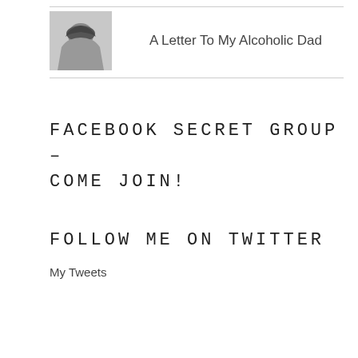[Figure (photo): Small grayscale avatar photo of a person with dark hair, used as a site/blog profile image]
A Letter To My Alcoholic Dad
FACEBOOK SECRET GROUP – COME JOIN!
FOLLOW ME ON TWITTER
My Tweets